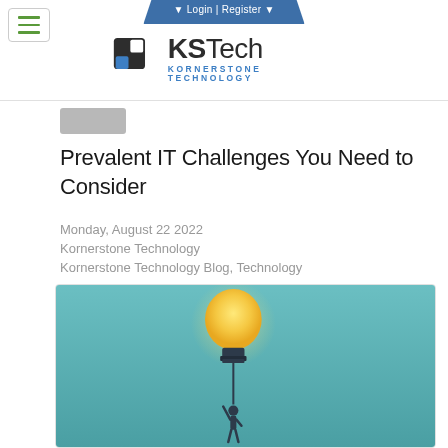Login | Register
[Figure (logo): KSTech Kornerstone Technology logo with dark square icon and blue text]
Prevalent IT Challenges You Need to Consider
Monday, August 22 2022
Kornerstone Technology
Kornerstone Technology Blog, Technology
[Figure (illustration): Illustration of a person holding a glowing light bulb like a balloon against a teal background]